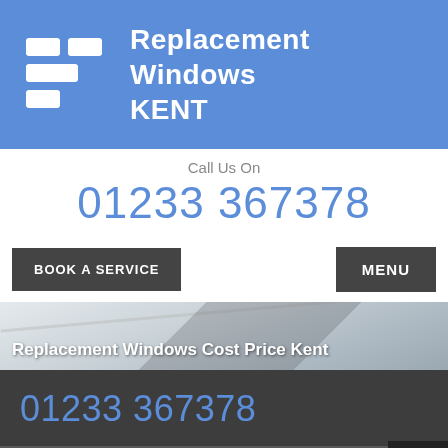Replacement Windows KENT
Call Us On
01233 367378
BOOK A SERVICE
MENU
Replacement Windows Cost Price Kent
01233 367378
Fill out my online form.